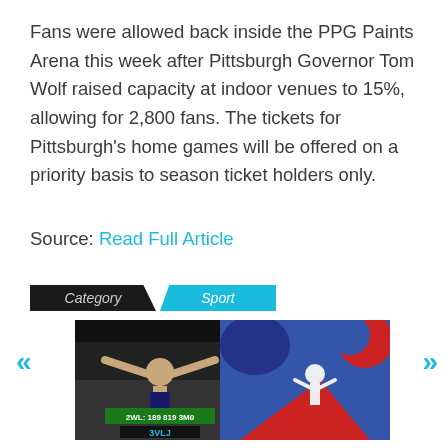Fans were allowed back inside the PPG Paints Arena this week after Pittsburgh Governor Tom Wolf raised capacity at indoor venues to 15%, allowing for 2,800 fans. The tickets for Pittsburgh's home games will be offered on a priority basis to season ticket holders only.
Source: Read Full Article
Category  Sport
[Figure (photo): UFC fighter with arms raised, scoreboard visible in background]
[Figure (illustration): Leo horoscope illustration with abstract blue, red and white geometric shapes]
UFC 259 LIVE RESULTS: UK start time, stream FREE, TV channel, prelims ahead of Adesanya vs
Leo weekly horoscope: What your star sign has in store for March 7 – 13